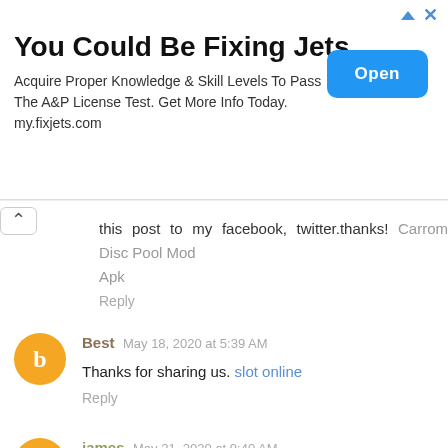[Figure (other): Advertisement banner: 'You Could Be Fixing Jets' with Open button and ad icons]
this post to my facebook, twitter.thanks! Carrom Disc Pool Mod Apk
Reply
Best May 18, 2020 at 5:39 AM
Thanks for sharing us. slot online
Reply
james May 21, 2020 at 9:40 AM
Fantastic blog! Do you have any tips and hints for aspiring writers? I'm planning to start my own website soon but I'm a little lost on everything. Would you propose starting with a free platform like WordPress or go for a paid option? There are so many options out